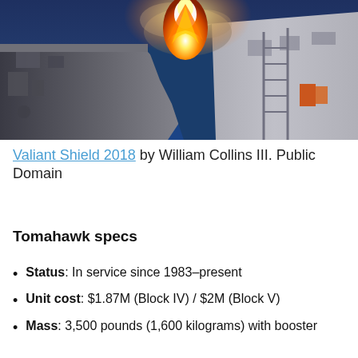[Figure (photo): A military ship launching a missile (Tomahawk) with a large fireball/flame visible above the deck. The ship is grey, photographed from close range on the deck. Ocean and sky are visible in the background.]
Valiant Shield 2018 by William Collins III. Public Domain
Tomahawk specs
Status: In service since 1983–present
Unit cost: $1.87M (Block IV) / $2M (Block V)
Mass: 3,500 pounds (1,600 kilograms) with booster